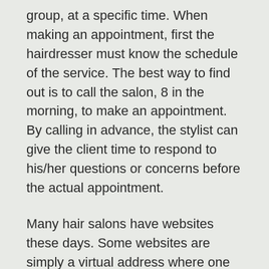group, at a specific time. When making an appointment, first the hairdresser must know the schedule of the service. The best way to find out is to call the salon, 8 in the morning, to make an appointment. By calling in advance, the stylist can give the client time to respond to his/her questions or concerns before the actual appointment.
Many hair salons have websites these days. Some websites are simply a virtual address where one can go to get information on the salon, the staff, services and haircuts available. Other sites provide salon photos, boutiques, menus and blogs. Salon websites can be a great way to find great deals and discounts on different services. Many websites also feature specials and “door-busters”, so customers can save when they bring friends and family.